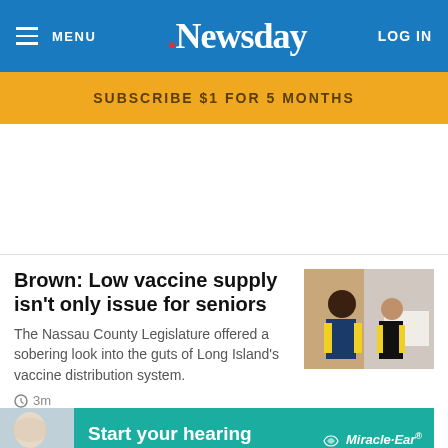MENU | Newsday | LOG IN
SUBSCRIBE $1 FOR 5 MONTHS
[Figure (screenshot): Advertisement placeholder (white space)]
Brown: Low vaccine supply isn't only issue for seniors
The Nassau County Legislature offered a sobering look into the guts of Long Island's vaccine distribution system.
[Figure (photo): A person in a yellow safety vest sitting and talking with someone at a vaccination site]
3m
[Figure (photo): Woman looking up with a drink, advertisement photo for Miracle-Ear]
Start your hearing journey today. Miracle-Ear CALL 1-888-387-3068